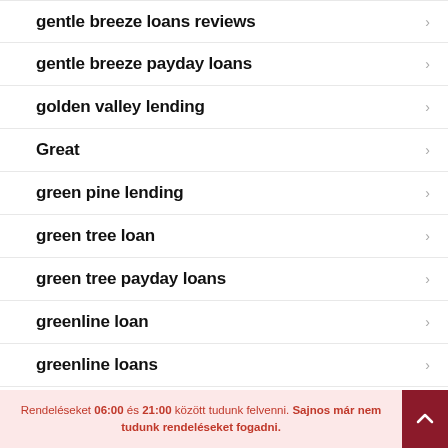gentle breeze loans reviews
gentle breeze payday loans
golden valley lending
Great
green pine lending
green tree loan
green tree payday loans
greenline loan
greenline loans
Rendeléseket 06:00 és 21:00 között tudunk felvenni. Sajnos már nem tudunk rendeléseket fogadni.